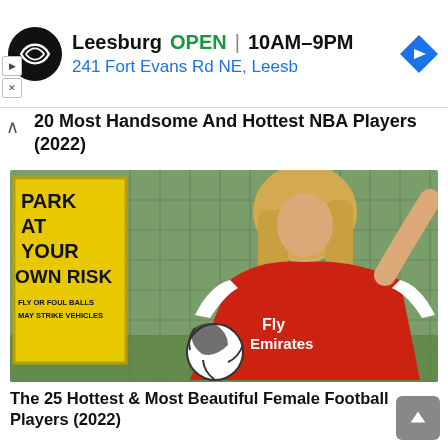[Figure (screenshot): Advertisement banner for a retail store in Leesburg, showing store logo, OPEN status, hours 10AM-9PM, address 241 Fort Evans Rd NE, Leesb, and a blue navigation diamond icon.]
20 Most Handsome And Hottest NBA Players (2022)
[Figure (photo): A blonde woman wearing a red Arsenal Fly Emirates jersey holding a soccer ball, standing in front of a chain-link fence. A yellow 'PARK AT YOUR OWN RISK - FLY OR FOUL BALLS MAY STRIKE VEHICLES' sign is visible on the left.]
The 25 Hottest & Most Beautiful Female Football Players (2022)